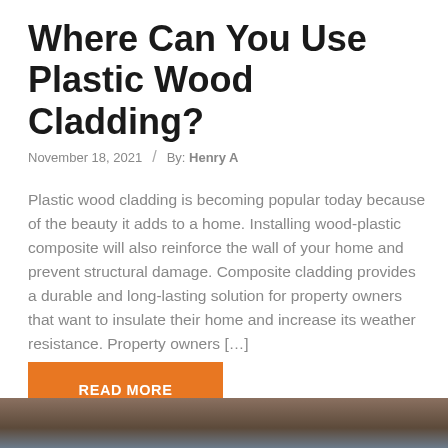Where Can You Use Plastic Wood Cladding?
November 18, 2021   /   By: Henry A
Plastic wood cladding is becoming popular today because of the beauty it adds to a home. Installing wood-plastic composite will also reinforce the wall of your home and prevent structural damage. Composite cladding provides a durable and long-lasting solution for property owners that want to insulate their home and increase its weather resistance. Property owners […]
READ MORE
[Figure (photo): Partial view of a building exterior with wood cladding, visible at the bottom of the page]